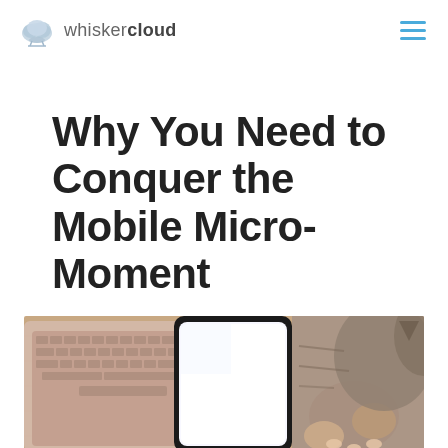whiskercloud
Why You Need to Conquer the Mobile Micro-Moment
by WhiskerCloud | May 15, 2016 | Marketing
[Figure (photo): Photo of a laptop keyboard, a smartphone with a bright white screen, and a cat's paw on a wooden surface]